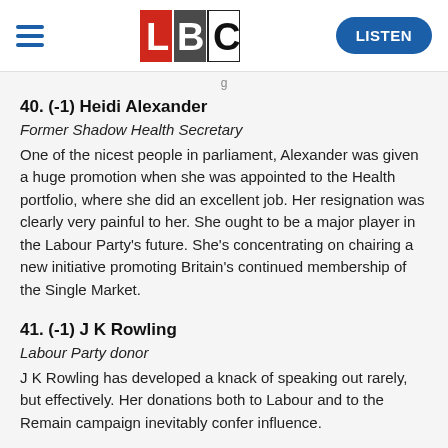LBC | LISTEN
40. (-1) Heidi Alexander
Former Shadow Health Secretary
One of the nicest people in parliament, Alexander was given a huge promotion when she was appointed to the Health portfolio, where she did an excellent job. Her resignation was clearly very painful to her. She ought to be a major player in the Labour Party's future. She's concentrating on chairing a new initiative promoting Britain's continued membership of the Single Market.
41. (-1) J K Rowling
Labour Party donor
J K Rowling has developed a knack of speaking out rarely, but effectively. Her donations both to Labour and to the Remain campaign inevitably confer influence.